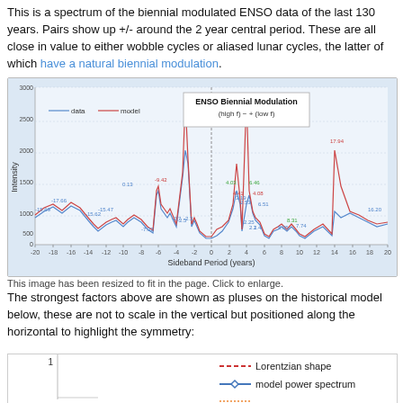This is a spectrum of the biennial modulated ENSO data of the last 130 years. Pairs show up +/- around the 2 year central period. These are all close in value to either wobble cycles or aliased lunar cycles, the latter of which have a natural biennial modulation.
[Figure (continuous-plot): Spectrum of biennial modulated ENSO data. X-axis: Sideband Period (years) from -20 to 20. Y-axis: Intensity from 0 to 3000. Two lines: blue=data, red=model. Title box: ENSO Biennial Modulation (high f) - + (low f). Multiple labeled peaks with values like -15.69, -17.66, -15.62, -15.47, -9.42, 4.03, 4.41, 2.53, 6.46, 3.19, 6.46, 4.08, 6.51, 17.94, 16.20 etc.]
This image has been resized to fit in the page. Click to enlarge.
The strongest factors above are shown as pluses on the historical model below, these are not to scale in the vertical but positioned along the horizontal to highlight the symmetry:
[Figure (continuous-plot): Bottom chart showing model with Lorentzian shape (red dashed), model power spectrum (blue line with diamond markers), and a third series (partially visible). Y-axis starts at 1. Legend shown on right.]